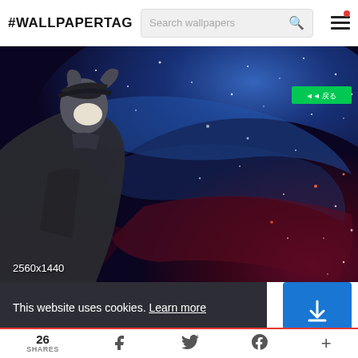#WALLPAPERTAG  Search wallpapers
[Figure (illustration): Anime/furry character in dark coat looking at a space nebula background. Resolution label: 2560x1440. Green badge with Japanese text in upper right.]
This website uses cookies. Learn more
Got it!
26 SHARES  [Facebook] [Twitter] [Pinterest] [Plus]